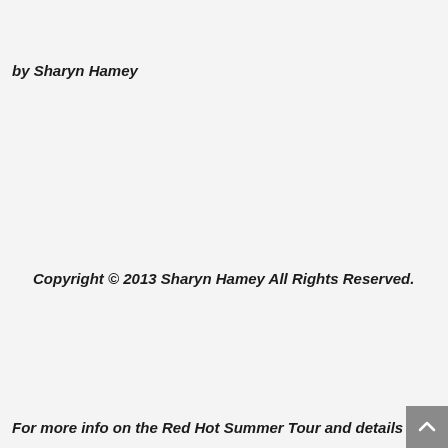by Sharyn Hamey
Copyright © 2013 Sharyn Hamey All Rights Reserved.
For more info on the Red Hot Summer Tour and details o